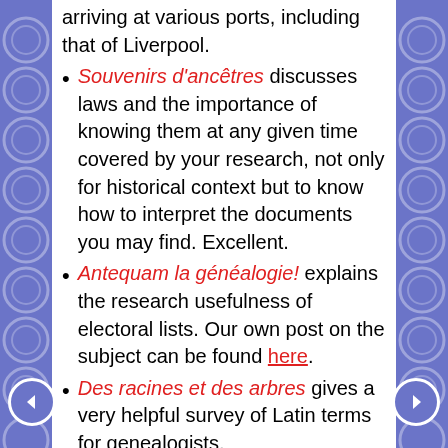arriving at various ports, including that of Liverpool.
Souvenirs d'ancêtres discusses laws and the importance of knowing them at any given time covered by your research, not only for historical context but to know how to interpret the documents you may find. Excellent.
Antequam la généalogie! explains the research usefulness of electoral lists. Our own post on the subject can be found here.
Des racines et des arbres gives a very helpful survey of Latin terms for genealogists.
Feuilles d'ardoise delves into the difficulties of spelling variations of